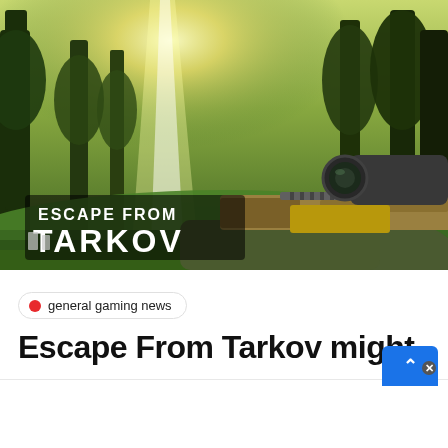[Figure (screenshot): Escape From Tarkov game screenshot showing first-person perspective with a sniper rifle in a forest clearing, sunlight streaming through trees, with the 'Escape From Tarkov' game logo overlaid in the lower left]
general gaming news
Escape From Tarkov might